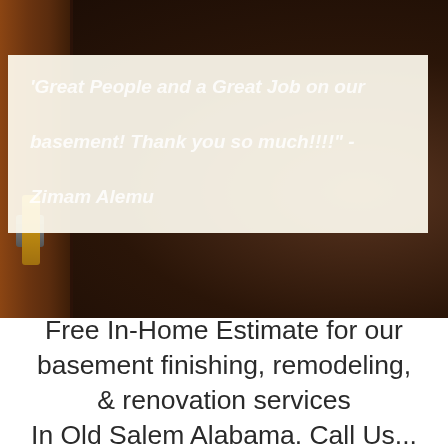[Figure (photo): Dark background photo of a wooden door with a gold/brass door handle and hardware, serving as backdrop for a customer testimonial quote overlay.]
'Great People and a Great Job on our basement! Thank you so much!!!!" - Zimam Alemu
Free In-Home Estimate for our basement finishing, remodeling, & renovation services In Old Salem Alabama. Call Us...